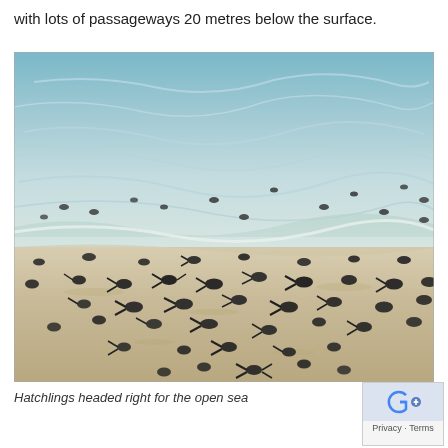with lots of passageways 20 metres below the surface.
[Figure (photo): Dozens of sea turtle hatchlings crawling across sandy beach toward the ocean waves. The hatchlings are small and dark-colored, scattered across a sandy beach with shallow water and gentle waves in the background.]
Hatchlings headed right for the open sea